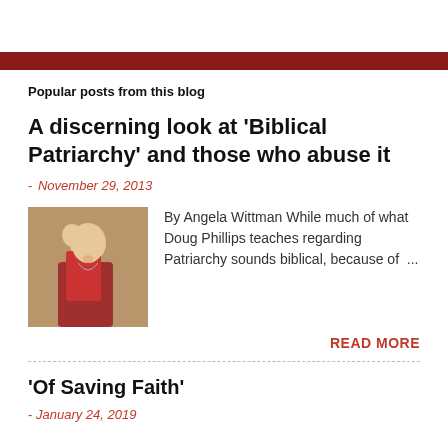Popular posts from this blog
A discerning look at 'Biblical Patriarchy' and those who abuse it
- November 29, 2013
[Figure (photo): Vintage painting of a mother holding a young child, both with light hair, dressed in traditional clothing]
By Angela Wittman While much of what Doug Phillips teaches regarding Patriarchy sounds biblical, because of ...
READ MORE
'Of Saving Faith'
- January 24, 2019